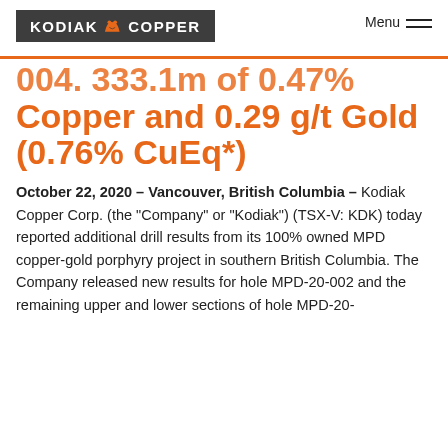[Figure (logo): Kodiak Copper logo — dark grey background with white uppercase text KODIAK and COPPER separated by a bear icon in orange/grey]
Menu
004. 333.1m of 0.47% Copper and 0.29 g/t Gold (0.76% CuEq*)
October 22, 2020 – Vancouver, British Columbia – Kodiak Copper Corp. (the "Company" or "Kodiak") (TSX-V: KDK) today reported additional drill results from its 100% owned MPD copper-gold porphyry project in southern British Columbia. The Company released new results for hole MPD-20-002 and the remaining upper and lower sections of hole MPD-20-